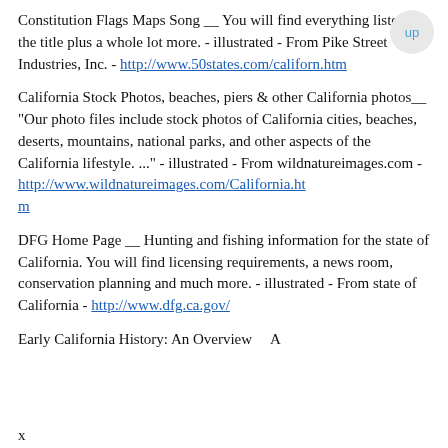Constitution Flags Maps Song __ You will find everything listed in the title plus a whole lot more. - illustrated - From Pike Street Industries, Inc. - http://www.50states.com/californ.htm
California Stock Photos, beaches, piers & other California photos__ "Our photo files include stock photos of California cities, beaches, deserts, mountains, national parks, and other aspects of the California lifestyle. ..." - illustrated - From wildnatureimages.com - http://www.wildnatureimages.com/California.htm
DFG Home Page __ Hunting and fishing information for the state of California. You will find licensing requirements, a news room, conservation planning and much more. - illustrated - From state of California - http://www.dfg.ca.gov/
Early California History: An Overview    A
x